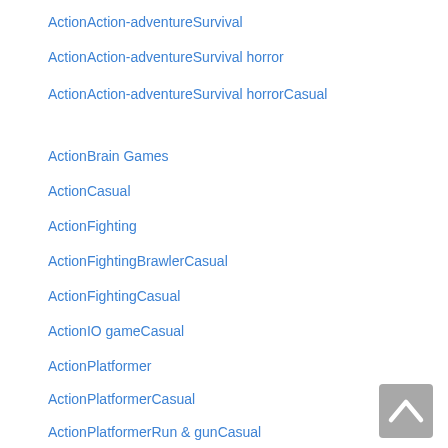ActionAction-adventureSurvival
ActionAction-adventureSurvival horror
ActionAction-adventureSurvival horrorCasual
ActionBrain Games
ActionCasual
ActionFighting
ActionFightingBrawlerCasual
ActionFightingCasual
ActionIO gameCasual
ActionPlatformer
ActionPlatformerCasual
ActionPlatformerRun & gunCasual